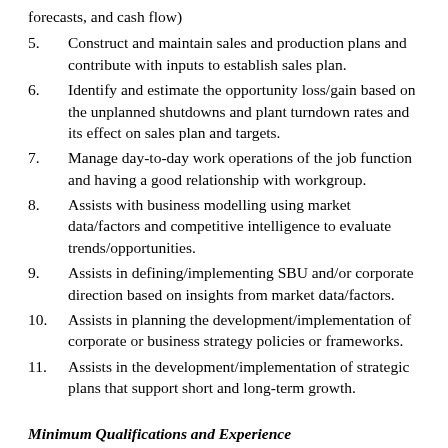forecasts, and cash flow)
5.    Construct and maintain sales and production plans and contribute with inputs to establish sales plan.
6.    Identify and estimate the opportunity loss/gain based on the unplanned shutdowns and plant turndown rates and its effect on sales plan and targets.
7.    Manage day-to-day work operations of the job function and having a good relationship with workgroup.
8.    Assists with business modelling using market data/factors and competitive intelligence to evaluate trends/opportunities.
9.    Assists in defining/implementing SBU and/or corporate direction based on insights from market data/factors.
10.    Assists in planning the development/implementation of corporate or business strategy policies or frameworks.
11.    Assists in the development/implementation of strategic plans that support short and long-term growth.
Minimum Qualifications and Experience